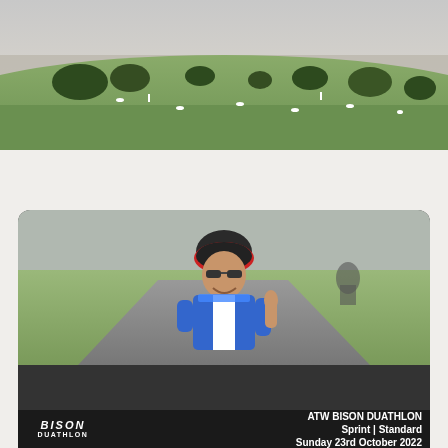[Figure (photo): Outdoor countryside photograph showing green fields, hedgerows, and rolling hills with a pale sky and road visible at distance]
[Figure (photo): Cyclist wearing helmet and blue/white jersey giving thumbs up, smiling, on a road with countryside in background. Cookie consent overlay on lower half.]
This site uses cookies. Find out more about cookies and how you can refuse them.
I Accept
ATW BISON DUATHLON Sprint | Standard Sunday 23rd October 2022